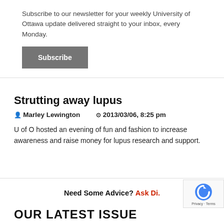Subscribe to our newsletter for your weekly University of Ottawa update delivered straight to your inbox, every Monday.
Subscribe
Strutting away lupus
Marley Lewington   2013/03/06, 8:25 pm
U of O hosted an evening of fun and fashion to increase awareness and raise money for lupus research and support.
Need Some Advice? Ask Di.
OUR LATEST ISSUE